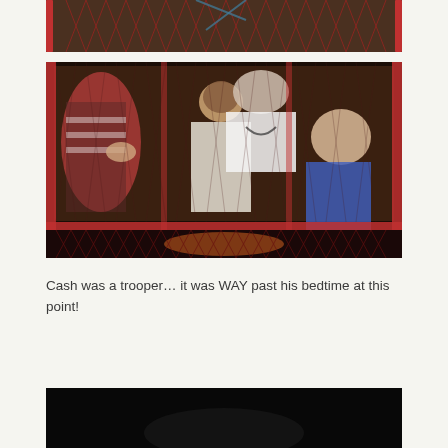[Figure (photo): Partial view of children in a red mesh/cage structure at what appears to be an indoor play area or fair attraction. Only the bottom portion of the image is visible (top of page crop).]
[Figure (photo): Children and adults inside a red metal cage/mesh ride or play structure at an indoor venue. A woman in a white shirt is visible at the top, children are playing/reaching toward each other inside the cage. Photo taken in a dark indoor environment with warm lighting.]
Cash was a trooper… it was WAY past his bedtime at this point!
[Figure (photo): Very dark photo, appears to be a night/low-light shot, partially visible at the bottom of the page (cropped).]